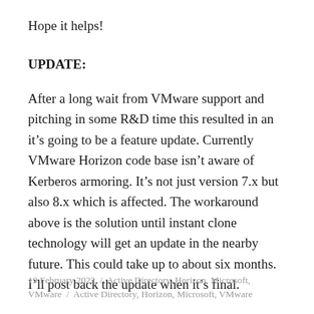Hope it helps!
UPDATE:
After a long wait from VMware support and pitching in some R&D time this resulted in an it's going to be a feature update. Currently VMware Horizon code base isn't aware of Kerberos armoring. It's not just version 7.x but also 8.x which is affected. The workaround above is the solution until instant clone technology will get an update in the nearby future. This could take up to about six months. I'll post back the update when it's final.
19 February 2022 / Active Directory, Horizon, Microsoft, VMware / Active Directory, Horizon, Microsoft, VMware